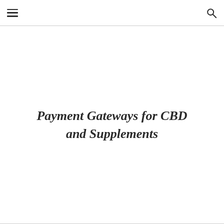[hamburger menu icon] [search icon]
Payment Gateways for CBD and Supplements